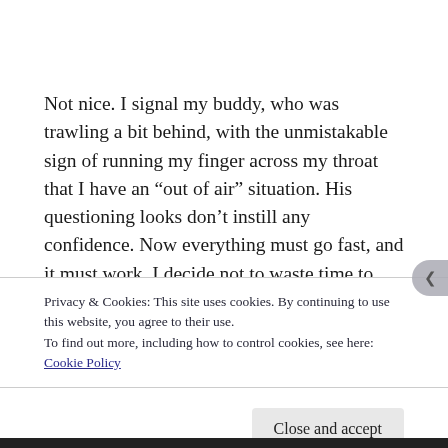Not nice. I signal my buddy, who was trawling a bit behind, with the unmistakable sign of running my finger across my throat that I have an “out of air” situation. His questioning looks don’t instill any confidence. Now everything must go fast, and it must work. I decide not to waste time to approach my buddy, make him understand my emergency and maybe get air at some point, but
Privacy & Cookies: This site uses cookies. By continuing to use this website, you agree to their use.
To find out more, including how to control cookies, see here: Cookie Policy
Close and accept